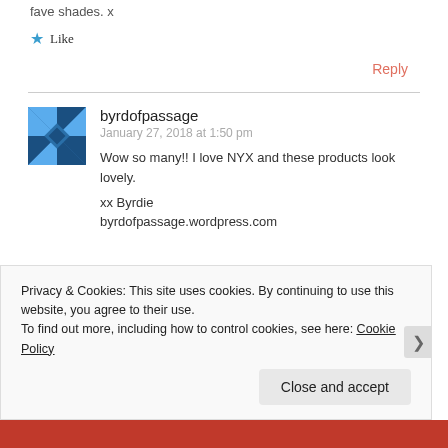fave shades. x
Like
Reply
byrdofpassage
January 27, 2018 at 1:50 pm
Wow so many!! I love NYX and these products look lovely.
xx Byrdie
byrdofpassage.wordpress.com
Privacy & Cookies: This site uses cookies. By continuing to use this website, you agree to their use.
To find out more, including how to control cookies, see here: Cookie Policy
Close and accept